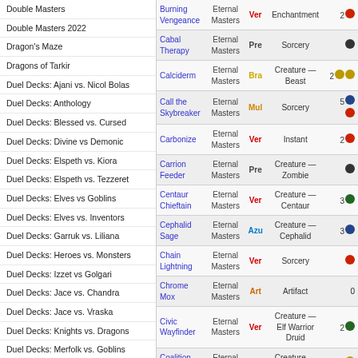Double Masters
Double Masters 2022
Dragon's Maze
Dragons of Tarkir
Duel Decks: Ajani vs. Nicol Bolas
Duel Decks: Anthology
Duel Decks: Blessed vs. Cursed
Duel Decks: Divine vs Demonic
Duel Decks: Elspeth vs. Kiora
Duel Decks: Elspeth vs. Tezzeret
Duel Decks: Elves vs Goblins
Duel Decks: Elves vs. Inventors
Duel Decks: Garruk vs. Liliana
Duel Decks: Heroes vs. Monsters
Duel Decks: Izzet vs Golgari
Duel Decks: Jace vs. Chandra
Duel Decks: Jace vs. Vraska
Duel Decks: Knights vs. Dragons
Duel Decks: Merfolk vs. Goblins
Duel Decks: Mind Vs. Might
Duel Decks: Nissa vs. Ob Nixilis
Duel Decks: Phyrexia vs. The
| Card Name | Set | Rarity | Type | Mana |
| --- | --- | --- | --- | --- |
| Burning Vengeance | Eternal Masters | Ver | Enchantment | 2🔴 |
| Cabal Therapy | Eternal Masters | Pre | Sorcery | 💀 |
| Calciderm | Eternal Masters | Bra | Creature — Beast | 2🟡🟡 |
| Call the Skybreaker | Eternal Masters | Mul | Sorcery | 5🔵🔴 |
| Carbonize | Eternal Masters | Ver | Instant | 2🔴 |
| Carrion Feeder | Eternal Masters | Pre | Creature — Zombie | 💀 |
| Centaur Chieftain | Eternal Masters | Ver | Creature — Centaur | 3🟢 |
| Cephalid Sage | Eternal Masters | Azu | Creature — Cephalid | 3🔵 |
| Chain Lightning | Eternal Masters | Ver | Sorcery | 🔴 |
| Chrome Mox | Eternal Masters | Art | Artifact | 0 |
| Civic Wayfinder | Eternal Masters | Ver | Creature — Elf Warrior Druid | 2🟢 |
| Coalition Honor | Eternal Masters | Bra | Creature — Human | 3🟡 |